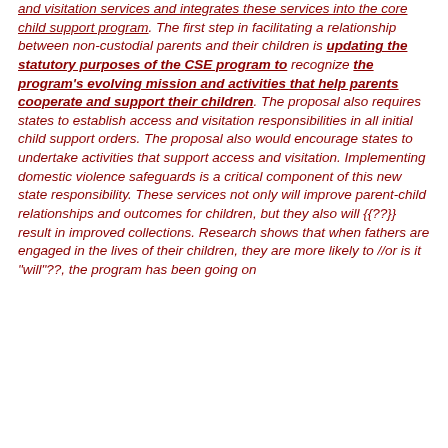and visitation services and integrates these services into the core child support program. The first step in facilitating a relationship between non-custodial parents and their children is updating the statutory purposes of the CSE program to recognize the program's evolving mission and activities that help parents cooperate and support their children. The proposal also requires states to establish access and visitation responsibilities in all initial child support orders. The proposal also would encourage states to undertake activities that support access and visitation. Implementing domestic violence safeguards is a critical component of this new state responsibility. These services not only will improve parent-child relationships and outcomes for children, but they also will {{??}} result in improved collections. Research shows that when fathers are engaged in the lives of their children, they are more likely to //or is it "will"??, the program has been going on